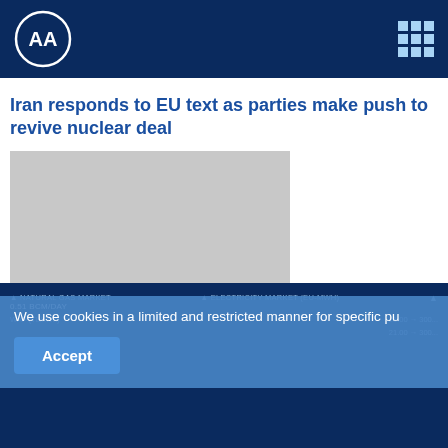[Figure (logo): Anadolu Agency (AA) logo - white circular logo with AA letters on dark navy header bar]
Iran responds to EU text as parties make push to revive nuclear deal
[Figure (photo): Grey placeholder image for article about Iran and EU nuclear deal]
We use cookies in a limited and restricted manner for specific pu
Accept